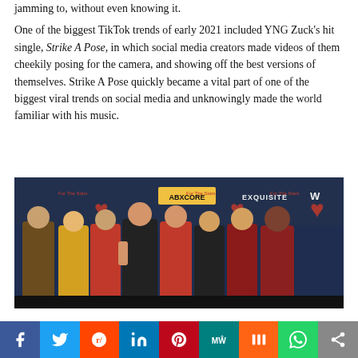jamming to, without even knowing it.
One of the biggest TikTok trends of early 2021 included YNG Zuck’s hit single, Strike A Pose, in which social media creators made videos of them cheekily posing for the camera, and showing off the best versions of themselves. Strike A Pose quickly became a vital part of one of the biggest viral trends on social media and unknowingly made the world familiar with his music.
[Figure (photo): Group of people posing at an event with red hearts and sponsor banners including ABXCORE, EXQUISITE, and W logos in the background. Eight people dressed in red and black outfits.]
Social share bar: Facebook, Twitter, Reddit, LinkedIn, Pinterest, MeWe, Mix, WhatsApp, Share